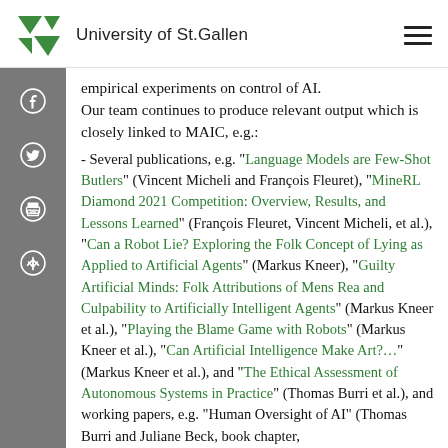University of St.Gallen
empirical experiments on control of AI. Our team continues to produce relevant output which is closely linked to MAIC, e.g.:
- Several publications, e.g. "Language Models are Few-Shot Butlers" (Vincent Micheli and François Fleuret), "MineRL Diamond 2021 Competition: Overview, Results, and Lessons Learned" (François Fleuret, Vincent Micheli, et al.), "Can a Robot Lie? Exploring the Folk Concept of Lying as Applied to Artificial Agents" (Markus Kneer), "Guilty Artificial Minds: Folk Attributions of Mens Rea and Culpability to Artificially Intelligent Agents" (Markus Kneer et al.), "Playing the Blame Game with Robots" (Markus Kneer et al.), "Can Artificial Intelligence Make Art?..." (Markus Kneer et al.), and "The Ethical Assessment of Autonomous Systems in Practice" (Thomas Burri et al.), and working papers, e.g. "Human Oversight of AI" (Thomas Burri and Juliane Beck, book chapter, work in progress).